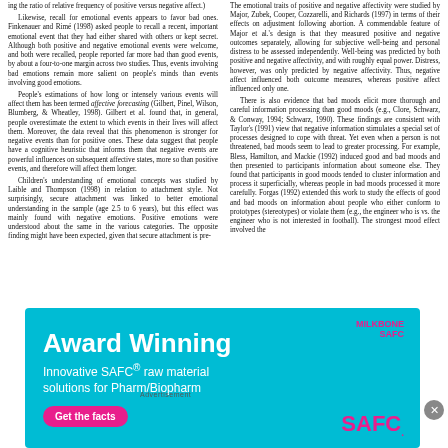ing the ratio of relative frequency of positive versus negative affect.)

Likewise, recall for emotional events appears to favor bad ones. Finkenauer and Rimé (1998) asked people to recall a recent, important emotional event that they had either shared with others or kept secret. Although both positive and negative emotional events were welcome, and both were recalled, people reported far more bad than good events, by about a four-to-one margin across two studies. Thus, events involving bad emotions remain more salient on people's minds than events involving good emotions.

People's estimations of how long or intensely various events will affect them has been termed affective forecasting (Gilbert, Pinel, Wilson, Blumberg, & Wheatley, 1998). Gilbert et al. found that, in general, people overestimate the extent to which events in their lives will affect them. Moreover, the data reveal that this phenomenon is stronger for negative events than for positive ones. These data suggest that people have a cognitive heuristic that informs them that negative events are powerful influences on subsequent affective states, more so than positive events, and therefore will affect them longer.

Children's understanding of emotional concepts was studied by Laible and Thompson (1998) in relation to attachment style. Not surprisingly, secure attachment was linked to better emotional understanding in the sample (age 2.5 to 6 years), but this effect was mainly found with negative emotions. Positive emotions were understood about the same in the various categories. The opposite finding might have been expected, given that secure attachment is pre-
The emotional traits of positive and negative affectivity were studied by Major, Zubek, Cooper, Cozzarelli, and Richards (1997) in terms of their effects on adjustment following abortion. A commendable feature of Major et al.'s design is that they measured positive and negative outcomes separately, allowing for subjective well-being and personal distress to be assessed independently. Well-being was predicted by both positive and negative affectivity, and with roughly equal power. Distress, however, was only predicted by negative affectivity. Thus, negative affect influenced both outcome measures, whereas positive affect influenced only one.

There is also evidence that bad moods elicit more thorough and careful information processing than good moods (e.g., Clore, Schwarz, & Conway, 1994; Schwarz, 1990). These findings are consistent with Taylor's (1991) view that negative information stimulates a special set of processes designed to cope with threat. Yet even when a person is not threatened, bad moods seem to lead to greater processing. For example, Bless, Hamilton, and Mackie (1992) induced good and bad moods and then presented to participants information about someone else. They found that participants in good moods tended to cluster information and process it superficially, whereas people in bad moods processed it more carefully. Forgas (1992) extended this work to study the effects of good and bad moods on information about people who either conform to prototypes (stereotypes) or violate them (e.g., the engineer who is vs. the engineer who is not interested in football). The strongest mood effect involved the
Advertisement
[Figure (illustration): Advertisement banner for SAFC (Sigma-Aldrich Fine Chemicals) with cyan/teal background. Text reads 'Award Winning' in large white bold font, 'Innovative SAFC raw material solutions for Pharm/Biopharm' below, a pink 'Get the facts' button, the Milkbone SAFC logo in pink top right, and 'SAFC.' in large pink text bottom right.]